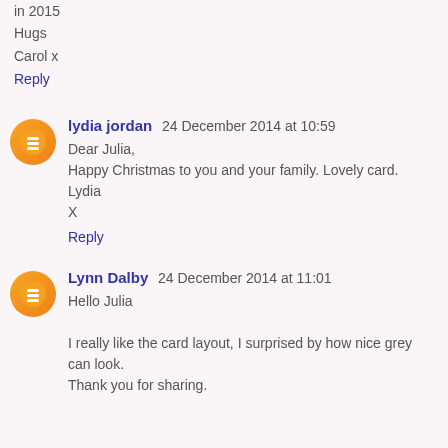in 2015
Hugs
Carol x
Reply
lydia jordan  24 December 2014 at 10:59
Dear Julia,
Happy Christmas to you and your family. Lovely card.
Lydia
X
Reply
Lynn Dalby  24 December 2014 at 11:01
Hello Julia

I really like the card layout, I surprised by how nice grey can look.
Thank you for sharing.